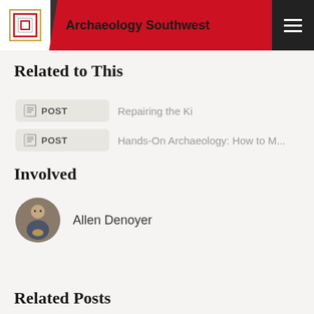Archaeology Southwest
Related to This
POST  Repairing the Ki
POST  Hands-On Archaeology: How to M...
Involved
Allen Denoyer
Related Posts